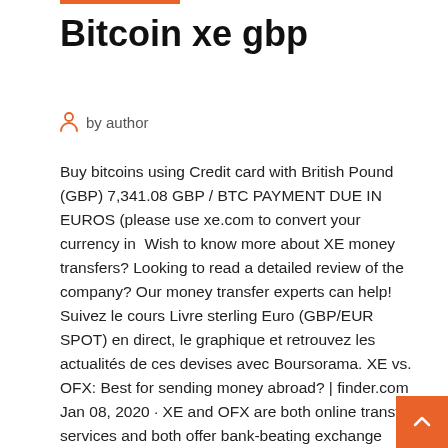Bitcoin xe gbp
by author
Buy bitcoins using Credit card with British Pound (GBP) 7,341.08 GBP / BTC PAYMENT DUE IN EUROS (please use xe.com to convert your currency in  Wish to know more about XE money transfers? Looking to read a detailed review of the company? Our money transfer experts can help! Suivez le cours Livre sterling Euro (GBP/EUR SPOT) en direct, le graphique et retrouvez les actualités de ces devises avec Boursorama. XE vs. OFX: Best for sending money abroad? | finder.com Jan 08, 2020 · XE and OFX are both online transfer services and both offer bank-beating exchange rates on international money transfers in more than 40 currencies. But for most transfers, XE comes out on top. The fees and rates used in this comparison are accurate as of October 3, 2019. Barbadian dollar (BBD) to British pound (GBP) currency … Share Barbadian dollar (BBD) to British pound (GBP) currency exchange rates